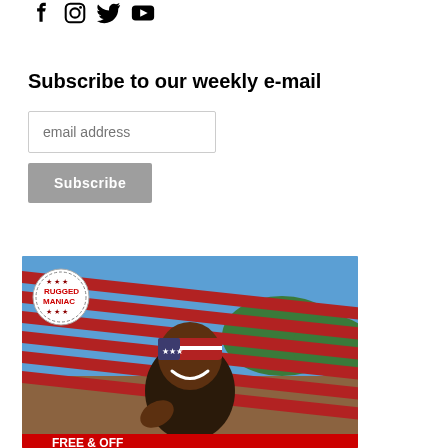[Figure (illustration): Social media icons: Facebook, Instagram, Twitter, YouTube]
Subscribe to our weekly e-mail
[Figure (screenshot): Email subscription form with email address input field and Subscribe button]
[Figure (photo): Photo of a smiling man wearing an American flag bandana at a Rugged Maniac obstacle course event, with red metal bars overhead. Rugged Maniac logo in top left corner.]